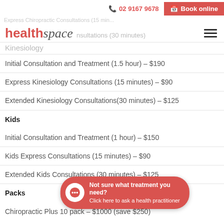02 9167 9678  Book online
[Figure (logo): healthspace logo with faded background text 'Consultations (30 minutes)']
Kinesiology
Initial Consultation and Treatment (1.5 hour) – $190
Express Kinesiology Consultations (15 minutes) – $90
Extended Kinesiology Consultations(30 minutes) – $125
Kids
Initial Consultation and Treatment (1 hour) – $150
Kids Express Consultations (15 minutes) – $90
Extended Kids Consultations (30 minutes) – $125
Packs
Chiropractic Plus 10 pack – $1000 (save $250)
Not sure what treatment you need? Click here to ask a health practitioner